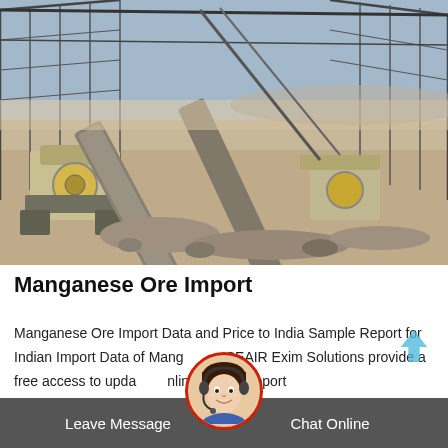[Figure (photo): Aerial/elevated view of a large industrial mining or crushing facility under construction, with heavy machinery including crushers and conveyor belts visible, metal structural framework overhead, arid landscape in background.]
Manganese Ore Import
Manganese Ore Import Data and Price to India Sample Report for Indian Import Data of Manganese SEAIR Exim Solutions provide a free access to updated online sample report
[Figure (photo): Circular avatar photo of a smiling woman wearing a headset/microphone, used as a chat support icon.]
Leave Message   Chat Online